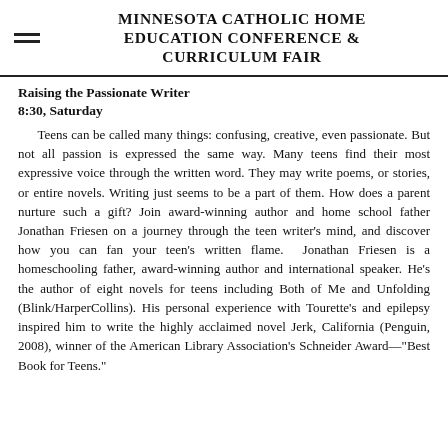MINNESOTA CATHOLIC HOME EDUCATION CONFERENCE & CURRICULUM FAIR
Raising the Passionate Writer
8:30, Saturday
Teens can be called many things: confusing, creative, even passionate. But not all passion is expressed the same way. Many teens find their most expressive voice through the written word. They may write poems, or stories, or entire novels. Writing just seems to be a part of them. How does a parent nurture such a gift? Join award-winning author and home school father Jonathan Friesen on a journey through the teen writer's mind, and discover how you can fan your teen's written flame.  Jonathan Friesen is a homeschooling father, award-winning author and international speaker. He's the author of eight novels for teens including Both of Me and Unfolding (Blink/HarperCollins). His personal experience with Tourette's and epilepsy inspired him to write the highly acclaimed novel Jerk, California (Penguin, 2008), winner of the American Library Association's Schneider Award—"Best Book for Teens."